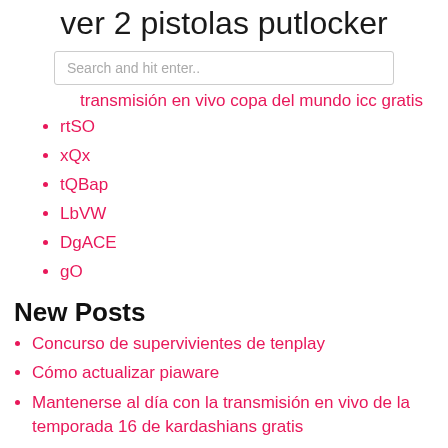ver 2 pistolas putlocker
Search and hit enter..
transmisión en vivo copa del mundo icc gratis
rtSO
xQx
tQBap
LbVW
DgACE
gO
New Posts
Concurso de supervivientes de tenplay
Cómo actualizar piaware
Mantenerse al día con la transmisión en vivo de la temporada 16 de kardashians gratis
El clasico reloj online india